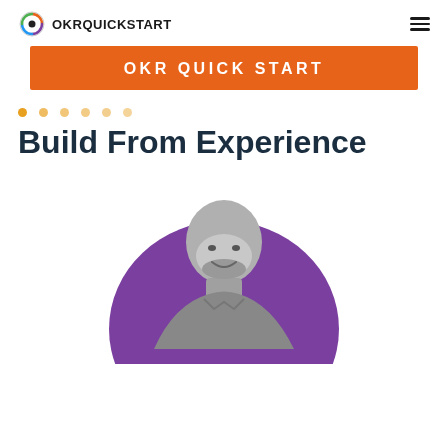OKR QUICKSTART
OKR QUICK START
[Figure (infographic): Six yellow dots in a horizontal row, indicating a carousel or step indicator]
Build From Experience
[Figure (photo): Black and white headshot photo of a smiling man with a beard and short hair, placed over a purple circle background shape]